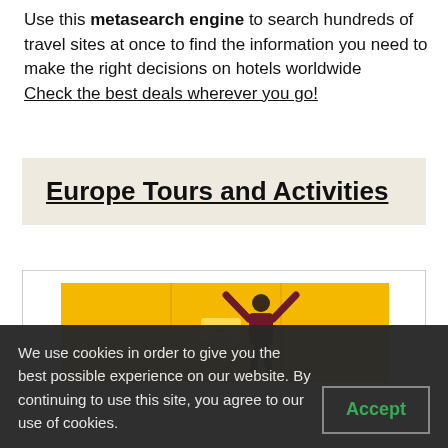Use this metasearch engine to search hundreds of travel sites at once to find the information you need to make the right decisions on hotels worldwide
Check the best deals wherever you go!
Europe Tours and Activities
[Figure (photo): Person with arms raised in front of a bright yellow wall, celebrating]
We use cookies in order to give you the best possible experience on our website. By continuing to use this site, you agree to our use of cookies.
Accept